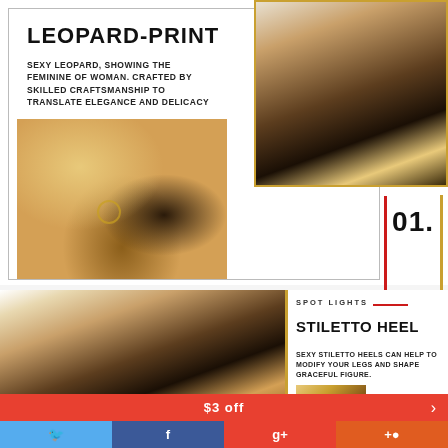LEOPARD-PRINT
SEXY LEOPARD, SHOWING THE FEMININE OF WOMAN. CRAFTED BY SKILLED CRAFTSMANSHIP TO TRANSLATE ELEGANCE AND DELICACY
[Figure (photo): Close-up of leopard-print stiletto heel shoe, side view showing toe and heel detail]
[Figure (photo): Leopard-print stiletto pump shoe on white/gold background, full side view]
01.
[Figure (photo): Large leopard-print stiletto pump shoe, full view with thin heel]
SPOT LIGHTS
STILETTO HEEL
SEXY STILETTO HEELS CAN HELP TO MODIFY YOUR LEGS AND SHAPE GRACEFUL FIGURE.
[Figure (photo): Small cropped image of leopard-print shoe heel detail]
$3 off
🐦
f
g+
+●